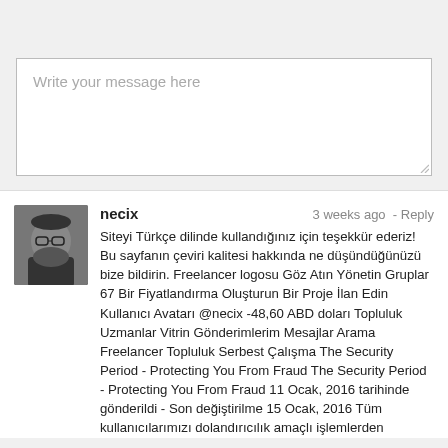[Figure (screenshot): Message text input box with placeholder text 'Write your message here']
necix   3 weeks ago  - Reply
Siteyi Türkçe dilinde kullandığınız için teşekkür ederiz! Bu sayfanın çeviri kalitesi hakkında ne düşündüğünüzü bize bildirin. Freelancer logosu Göz Atın Yönetin Gruplar 67 Bir Fiyatlandırma Oluşturun Bir Proje İlan Edin Kullanıcı Avatarı @necix -48,60 ABD doları Topluluk Uzmanlar Vitrin Gönderimlerim Mesajlar Arama Freelancer Topluluk Serbest Çalışma The Security Period - Protecting You From Fraud The Security Period - Protecting You From Fraud 11 Ocak, 2016 tarihinde gönderildi - Son değiştirilme 15 Ocak, 2016 Tüm kullanıcılarımızı dolandırıcılık amaçlı işlemlerden